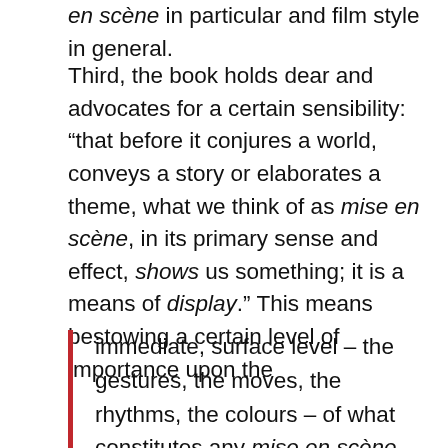en scène in particular and film style in general.
Third, the book holds dear and advocates for a certain sensibility: “that before it conjures a world, conveys a story or elaborates a theme, what we think of as mise en scène, in its primary sense and effect, shows us something; it is a means of display.” This means bestowing a certain level of importance upon the
immediate, surface level – the gestures, the moves, the rhythms, the colours – of what constitutes any mise en scène … We should be careful not to depart, too